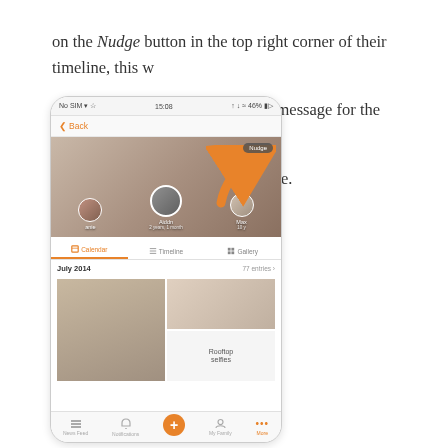on the Nudge button in the top right corner of their timeline, this will open a new page, on which you can include a message for the recipient of your nudge. click Send Nudge when you're done.
[Figure (screenshot): Mobile app screenshot showing a family timeline app with a profile header photo of a man and child, an orange arrow pointing to a 'Nudge' button in the top right corner, profile circles for family members (Anie, Aiddn, Max), Calendar/Timeline/Gallery tabs, July 2014 calendar section with photo grid and 'Rooftop selfies' label, and bottom navigation bar with Home, Notifications, Plus, My Family, and More buttons.]